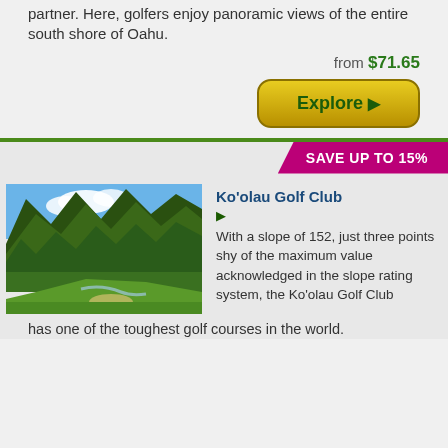partner. Here, golfers enjoy panoramic views of the entire south shore of Oahu.
from $71.65
Explore ▶
SAVE UP TO 15%
Ko'olau Golf Club
[Figure (photo): Golf course with dramatic green mountain cliffs in background under blue sky with clouds, lush green fairway in foreground]
With a slope of 152, just three points shy of the maximum value acknowledged in the slope rating system, the Ko'olau Golf Club
has one of the toughest golf courses in the world.